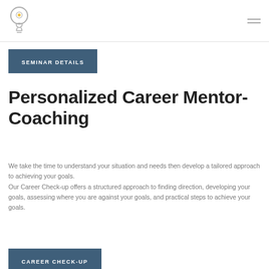Personalized Career Mentor-Coaching — site header with logo and navigation
SEMINAR DETAILS
Personalized Career Mentor-Coaching
We take the time to understand your situation and needs then develop a tailored approach to achieving your goals. Our Career Check-up offers a structured approach to finding direction, developing your goals, assessing where you are against your goals, and practical steps to achieve your goals.
CAREER CHECK-UP